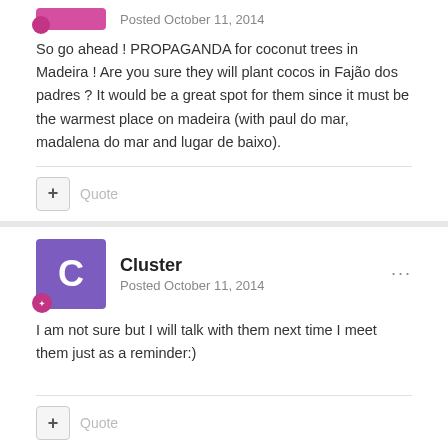Posted October 11, 2014
So go ahead ! PROPAGANDA for coconut trees in Madeira ! Are you sure they will plant cocos in Fajão dos padres ? It would be a great spot for them since it must be the warmest place on madeira (with paul do mar, madalena do mar and lugar de baixo).
+ Quote
Cluster
Posted October 11, 2014
I am not sure but I will talk with them next time I meet them just as a reminder:)
+ Quote